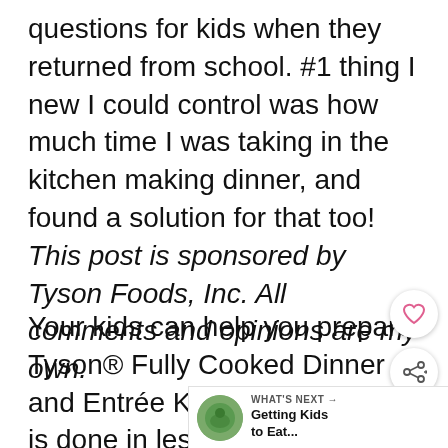questions for kids when they returned from school. #1 thing I new I could control was how much time I was taking in the kitchen making dinner, and found a solution for that too! This post is sponsored by Tyson Foods, Inc. All comments and opinions are my own.
Your kids can help you prepare Tyson® Fully Cooked Dinner and Entrée Kit for two, AND it is done in less than 20 minutes flat!
[Figure (infographic): Heart/save button (circular white button with heart icon) and share button (circular white button with share icon) floating on the right side of the page]
[Figure (infographic): What's Next widget at bottom right showing a circular food photo thumbnail and text 'WHAT'S NEXT → Getting Kids to Eat...']